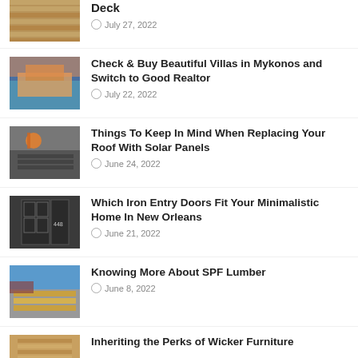[Figure (photo): Wooden deck close-up]
Deck
July 27, 2022
[Figure (photo): Villa with pool at sunset]
Check & Buy Beautiful Villas in Mykonos and Switch to Good Realtor
July 22, 2022
[Figure (photo): Worker installing solar panels on roof]
Things To Keep In Mind When Replacing Your Roof With Solar Panels
June 24, 2022
[Figure (photo): Iron entry door with address 448]
Which Iron Entry Doors Fit Your Minimalistic Home In New Orleans
June 21, 2022
[Figure (photo): Lumber stacked outside building]
Knowing More About SPF Lumber
June 8, 2022
[Figure (photo): Wicker furniture]
Inheriting the Perks of Wicker Furniture